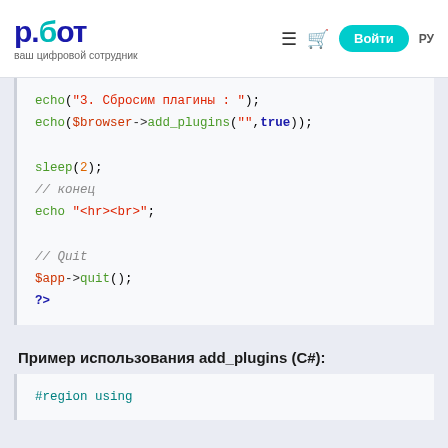р.бот — ваш цифровой сотрудник | Войти | РУ
[Figure (screenshot): PHP code block showing echo and sleep functions, with Russian comments]
Пример использования add_plugins (C#):
[Figure (screenshot): C# code block starting with #region using]